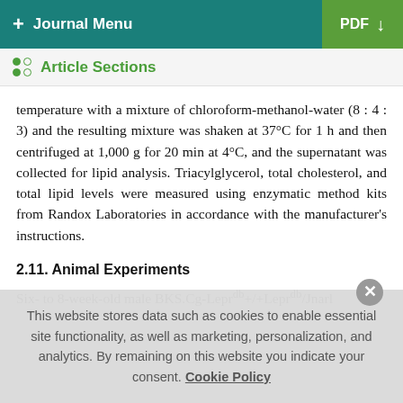+ Journal Menu | PDF ↓
Article Sections
temperature with a mixture of chloroform-methanol-water (8 : 4 : 3) and the resulting mixture was shaken at 37°C for 1 h and then centrifuged at 1,000 g for 20 min at 4°C, and the supernatant was collected for lipid analysis. Triacylglycerol, total cholesterol, and total lipid levels were measured using enzymatic method kits from Randox Laboratories in accordance with the manufacturer's instructions.
2.11. Animal Experiments
Six- to 8-week-old male BKS.Cg-Leprdb+/+Leprdb/Jnarl
This website stores data such as cookies to enable essential site functionality, as well as marketing, personalization, and analytics. By remaining on this website you indicate your consent. Cookie Policy